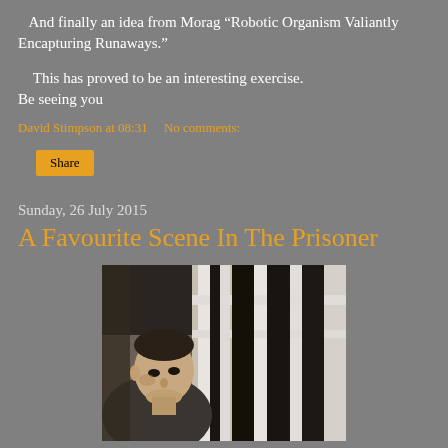And finally an idea from Morag “Robotic Organism Valiantly Encapturing Runaways.”
This has proved to be an interesting exercise.
Be seeing you
David Stimpson at 08:31    No comments:
Share
Sunday, 26 July 2015
A Favourite Scene In The Prisoner
[Figure (photo): A man peering through white bars or window frame, looking intensely at the camera. The image appears to be from The Prisoner TV series.]